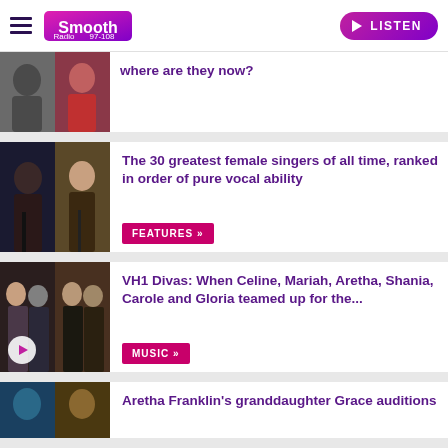Smooth Radio 97-108 | LISTEN
where are they now?
The 30 greatest female singers of all time, ranked in order of pure vocal ability
FEATURES »
VH1 Divas: When Celine, Mariah, Aretha, Shania, Carole and Gloria teamed up for the...
MUSIC »
Aretha Franklin's granddaughter Grace auditions